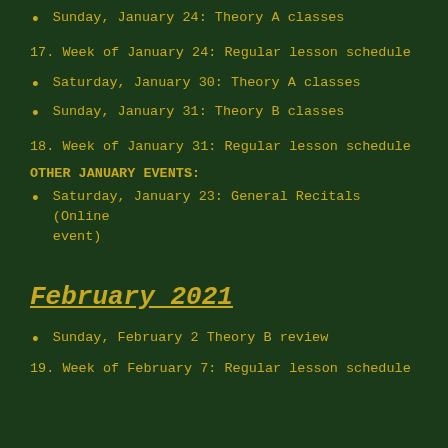Sunday, January 24: Theory A classes
17. Week of January 24: Regular lesson schedule
Saturday, January 30: Theory A classes
Sunday, January 31: Theory B classes
18. Week of January 31: Regular lesson schedule
OTHER JANUARY EVENTS:
Saturday, January 23: General Recitals (Online event)
February 2021
Sunday, February 2 Theory B review
19. Week of February 7: Regular lesson schedule